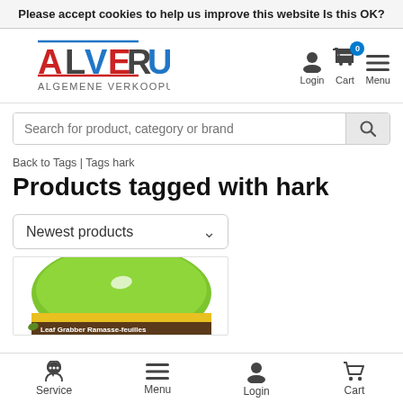Please accept cookies to help us improve this website Is this OK?
[Figure (logo): ALVERU - Algemene Verkoopunie logo with red and blue text and stylized letters]
[Figure (infographic): Navigation icons: Login (person icon), Cart (shopping cart with badge 0), Menu (hamburger icon)]
Search for product, category or brand
Back to Tags | Tags hark
Products tagged with hark
Newest products
[Figure (photo): Product image showing a green Leaf Grabber / Ramasse-feuilles tool]
Service  Menu  Login  Cart